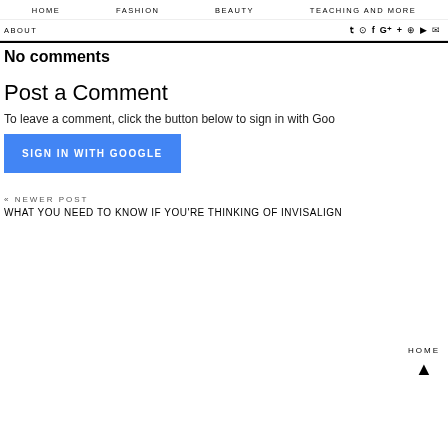HOME  FASHION  BEAUTY  TEACHING AND MORE
ABOUT  [social icons: twitter, instagram, facebook, google+, plus, pinterest, youtube, email]
No comments
Post a Comment
To leave a comment, click the button below to sign in with Goo
SIGN IN WITH GOOGLE
« NEWER POST
WHAT YOU NEED TO KNOW IF YOU'RE THINKING OF INVISALIGN
HOME